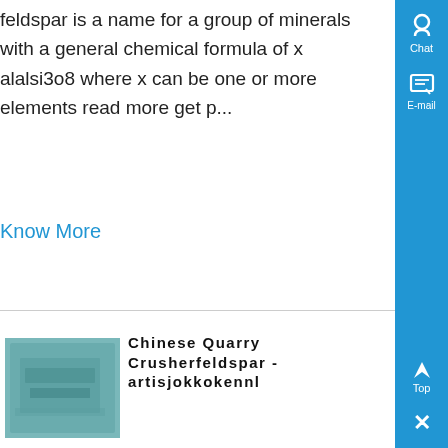feldspar is a name for a group of minerals with a general chemical formula of x alalsi3o8 where x can be one or more elements read more get p...
Know More
[Figure (photo): Photo of a quarry crusher machine with a blue-green tint]
Chinese Quarry Crusherfeldspar - artisjokkokennl
Limestone Quarry Crusher Feldspar Mining quarry crusherfeldspar dagvanzwaagskd excellent mining crushing machinery products or production line design, the company is committed to building the chinese brand mine crushing and processing machinery, mainly crusher, mill, sand making our products granite quarries in